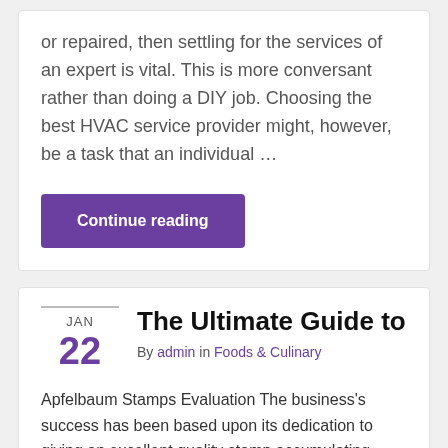or repaired, then settling for the services of an expert is vital. This is more conversant rather than doing a DIY job. Choosing the best HVAC service provider might, however, be a task that an individual …
Continue reading
JAN 22
The Ultimate Guide to
By admin in Foods & Culinary
Apfelbaum Stamps Evaluation The business's success has been based upon its dedication to giving an excellent quality stamp accumulating experience. Read more about stamp in this website. Because 1963, the Apfelbaum Stamp Firm has been focusing on the procurement of philatelic homes. Learn more about stamps in this homepage. The Apfelbaum family